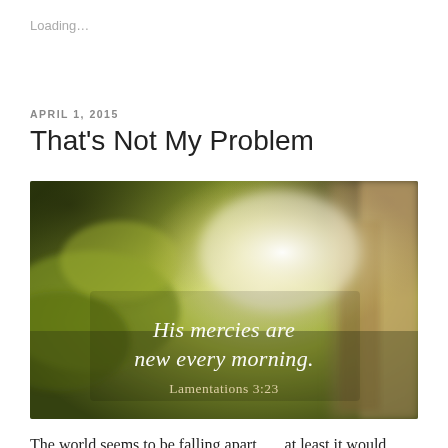Loading…
APRIL 1, 2015
That's Not My Problem
[Figure (photo): Blurred close-up photo of yellow-green flowers/plants with soft light bokeh effect. Overlaid white text reads: 'His mercies are new every morning.' and below it 'Lamentations 3:23']
The world seems to be falling apart . . . at least it would appear so.  But truly, it doesn't look any more unrested